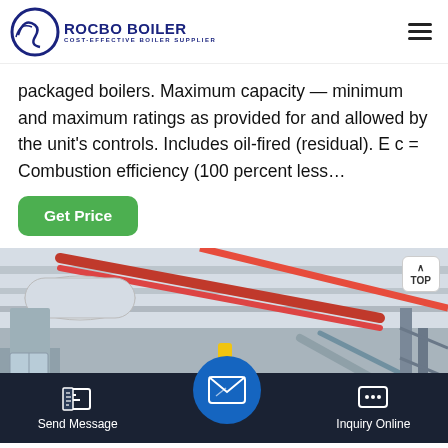ROCBO BOILER — COST-EFFECTIVE BOILER SUPPLIER
packaged boilers. Maximum capacity — minimum and maximum ratings as provided for and allowed by the unit's controls. Includes oil-fired (residual). E c = Combustion efficiency (100 percent less…
[Figure (photo): Industrial boiler room interior showing large cylindrical boiler tanks with colorful pipes (red, yellow) running along the ceiling and walls of a facility.]
Send Message | Inquiry Online